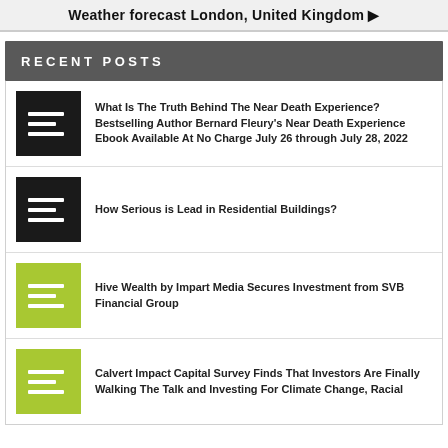Weather forecast London, United Kingdom ▶
RECENT POSTS
What Is The Truth Behind The Near Death Experience? Bestselling Author Bernard Fleury's Near Death Experience Ebook Available At No Charge July 26 through July 28, 2022
How Serious is Lead in Residential Buildings?
Hive Wealth by Impart Media Secures Investment from SVB Financial Group
Calvert Impact Capital Survey Finds That Investors Are Finally Walking The Talk and Investing For Climate Change, Racial